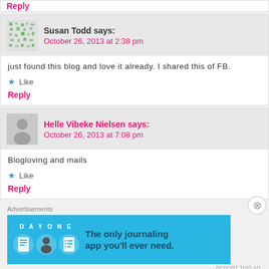Reply
Susan Todd says: October 26, 2013 at 2:38 pm
just found this blog and love it already. I shared this of FB.
★ Like
Reply
Helle Vibeke Nielsen says: October 26, 2013 at 7:08 pm
Blogloving and mails
★ Like
Reply
Advertisements
[Figure (other): DAY ONE app advertisement banner — The only journaling app you'll ever need.]